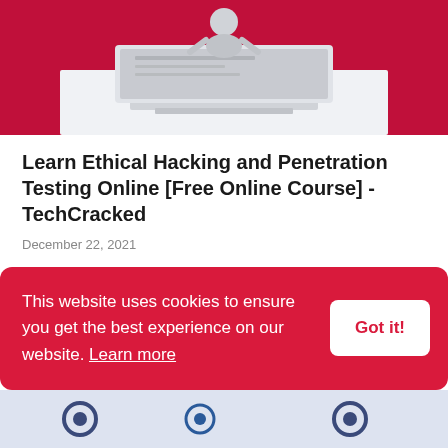[Figure (illustration): Red background illustration of a laptop computer with a figure/avatar above it, representing an ethical hacking and cybersecurity themed graphic]
Learn Ethical Hacking and Penetration Testing Online [Free Online Course] - TechCracked
December 22, 2021
Pentesting Experise course What you'll learn YOU WILL LEARN HOW TO BE ANONYMOUS - THE RIGHT FOR...
Read more
This website uses cookies to ensure you get the best experience on our website. Learn more
Got it!
[Figure (illustration): Partial bottom strip showing a technology/education themed illustration with gear/settings icons]